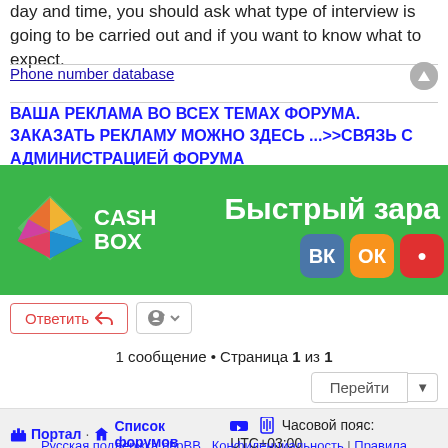day and time, you should ask what type of interview is going to be carried out and if you want to know what to expect.
Phone number database
ВАША РЕКЛАМА ВО ВСЕХ ТЕМАХ ФОРУМА. ЗАКАЗАТЬ РЕКЛАМУ МОЖНО ЗДЕСЬ ...>>СВЯЗЬ С АДМИНИСТРАЦИЕЙ ФОРУМА
[Figure (illustration): Cash Box green banner ad with colorful diamond logo and Russian text 'Быстрый зара...' with VK, OK, and red social media icons]
Ответить
1 сообщение • Страница 1 из 1
Перейти
Портал · Список форумов  Часовой пояс: UTC+03:00
Русская поддержка phpBB  Конфиденциальность | Правила